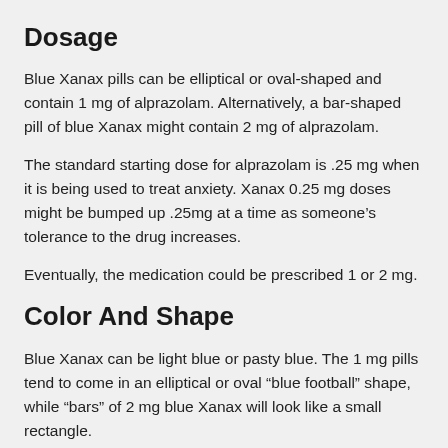Dosage
Blue Xanax pills can be elliptical or oval-shaped and contain 1 mg of alprazolam. Alternatively, a bar-shaped pill of blue Xanax might contain 2 mg of alprazolam.
The standard starting dose for alprazolam is .25 mg when it is being used to treat anxiety. Xanax 0.25 mg doses might be bumped up .25mg at a time as someone’s tolerance to the drug increases.
Eventually, the medication could be prescribed 1 or 2 mg.
Color And Shape
Blue Xanax can be light blue or pasty blue. The 1 mg pills tend to come in an elliptical or oval “blue football” shape, while “bars” of 2 mg blue Xanax will look like a small rectangle.